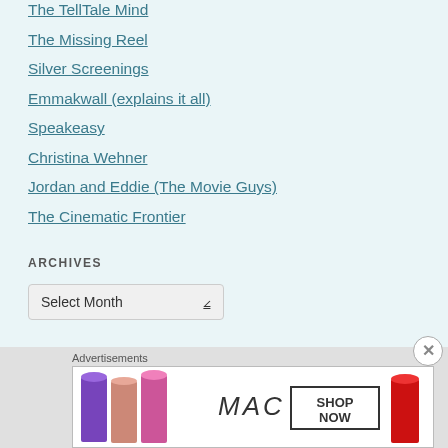The TellTale Mind
The Missing Reel
Silver Screenings
Emmakwall (explains it all)
Speakeasy
Christina Wehner
Jordan and Eddie (The Movie Guys)
The Cinematic Frontier
ARCHIVES
Select Month
[Figure (other): MAC cosmetics advertisement banner showing lipsticks with SHOP NOW text]
Advertisements